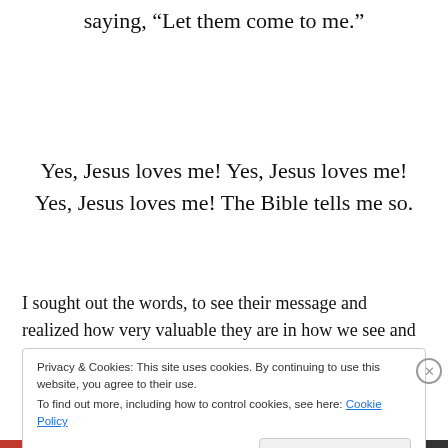saying, “Let them come to me.”
Yes, Jesus loves me! Yes, Jesus loves me! Yes, Jesus loves me! The Bible tells me so.
I sought out the words, to see their message and realized how very valuable they are in how we see and know truth,
Privacy & Cookies: This site uses cookies. By continuing to use this website, you agree to their use.
To find out more, including how to control cookies, see here: Cookie Policy
Close and accept